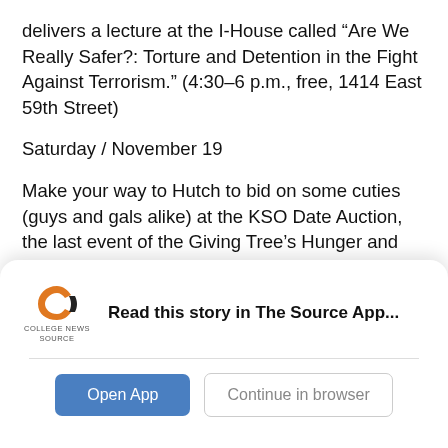delivers a lecture at the I-House called “Are We Really Safer?: Torture and Detention in the Fight Against Terrorism.” (4:30–6 p.m., free, 1414 East 59th Street)
Saturday / November 19
Make your way to Hutch to bid on some cuties (guys and gals alike) at the KSO Date Auction, the last event of the Giving Tree’s Hunger and Homelessness Awareness Week. Part of the auction’s proceeds go to Giving Tree charity funds. (8:30-10:30 p.m., free, 5706 South University Avenue)
When friends fall for each other, things often get
[Figure (logo): College News Source logo with orange and black swirl icon and text 'COLLEGE NEWS SOURCE']
Read this story in The Source App...
Open App
Continue in browser